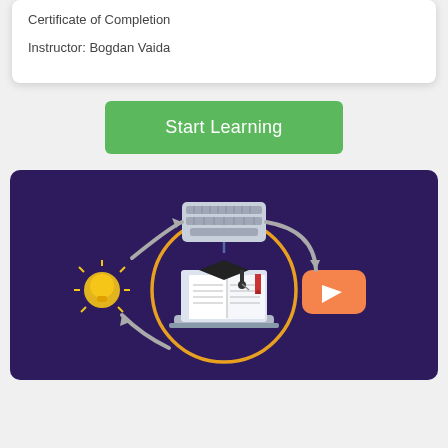Certificate of Completion

Instructor: Bogdan Vaida
Start Learning
[Figure (illustration): Dark purple background illustration showing a learning cycle: a laptop with an open book and graduation cap in the center within a gold circle, a lightbulb icon to the left, a keyboard icon at the top, an orange YouTube play button icon to the right, and curved arrows connecting them in a cycle.]